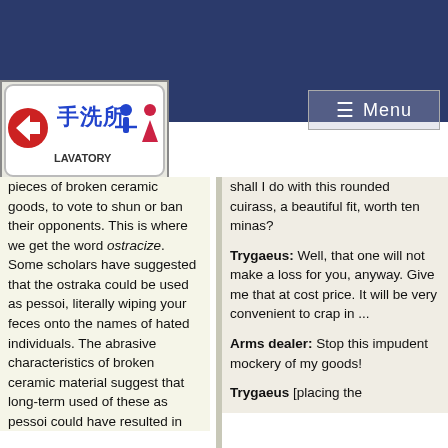[Figure (photo): Japanese lavatory sign with arrow, kanji characters 手洗所, male/female icons, and the word LAVATORY]
[Figure (screenshot): Menu button with three lines icon and the word Menu on dark blue background]
pieces of broken ceramic goods, to vote to shun or ban their opponents. This is where we get the word ostracize. Some scholars have suggested that the ostraka could be used as pessoi, literally wiping your feces onto the names of hated individuals. The abrasive characteristics of broken ceramic material suggest that long-term used of these as pessoi could have resulted in
shall I do with this rounded cuirass, a beautiful fit, worth ten minas?

Trygaeus: Well, that one will not make a loss for you, anyway. Give me that at cost price. It will be very convenient to crap in ...

Arms dealer: Stop this impudent mockery of my goods!

Trygaeus [placing the